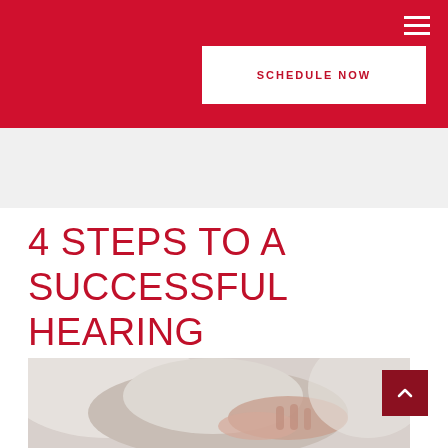SCHEDULE NOW
4 STEPS TO A SUCCESSFUL HEARING AID EVALUATION
[Figure (photo): A healthcare professional examining or touching an elderly patient's ear/head area, with a blurred clinical background.]